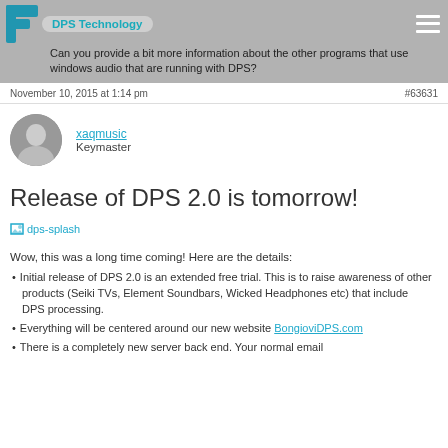DPS Technology — Can you provide a bit more information about the other programs that use windows audio that are running with DPS?
November 10, 2015 at 1:14 pm   #63631
xaqmusic
Keymaster
Release of DPS 2.0 is tomorrow!
[Figure (other): dps-splash image link]
Wow, this was a long time coming!  Here are the details:
Initial release of DPS 2.0 is an extended free trial.  This is to raise awareness of other products (Seiki TVs, Element Soundbars, Wicked Headphones etc) that include DPS processing.
Everything will be centered around our new website BongioviDPS.com
There is a completely new server back end.   Your normal email